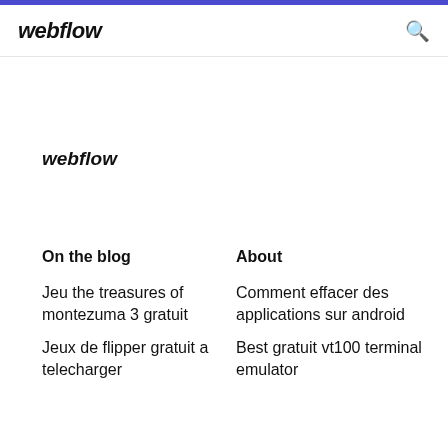webflow
webflow
On the blog
About
Jeu the treasures of montezuma 3 gratuit
Comment effacer des applications sur android
Jeux de flipper gratuit a telecharger
Best gratuit vt100 terminal emulator